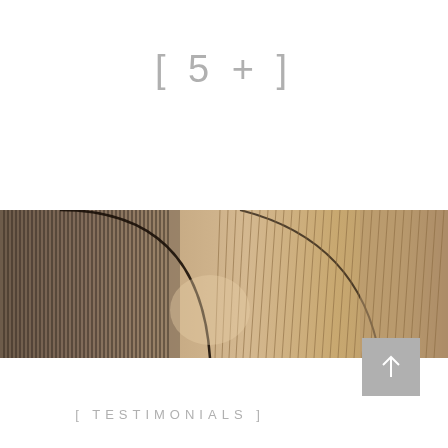[ 5 + ]
[Figure (photo): Wide panoramic photograph of curved wooden slat architecture interior, showing rhythmic parallel wood strips forming arching tunnel-like curves with warm brown tones.]
[Figure (other): Grey square button with white upward arrow icon.]
[ TESTIMONIALS ]